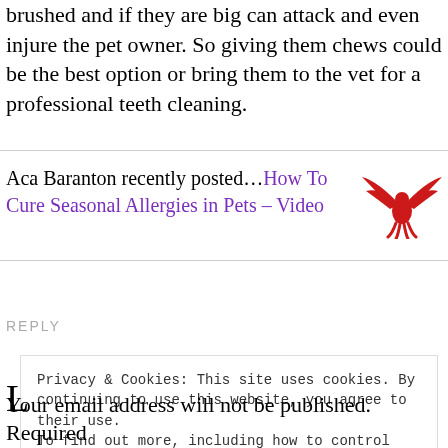brushed and if they are big can attack and even injure the pet owner. So giving them chews could be the best option or bring them to the vet for a professional teeth cleaning.
Aca Baranton recently posted…How To Cure Seasonal Allergies in Pets – Video
[Figure (logo): Red phoenix bird logo with wings spread]
REPLY
Privacy & Cookies: This site uses cookies. By continuing to use this website, you agree to their use.
To find out more, including how to control cookies, see here: Cookie Policy
Close and accept
L
Your email address will not be published. Required